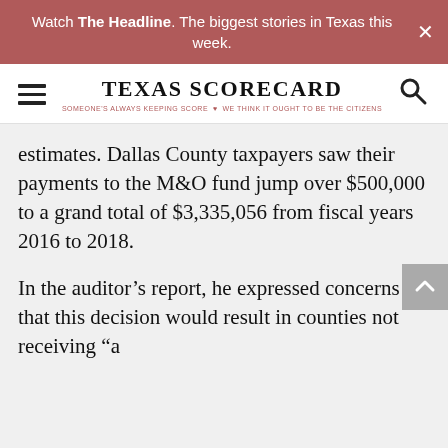Watch The Headline. The biggest stories in Texas this week.
[Figure (logo): Texas Scorecard logo with hamburger menu and search icon. Tagline: SOMEONE'S ALWAYS KEEPING SCORE — WE THINK IT OUGHT TO BE THE CITIZENS]
estimates. Dallas County taxpayers saw their payments to the M&O fund jump over $500,000 to a grand total of $3,335,056 from fiscal years 2016 to 2018.
In the auditor's report, he expressed concerns that this decision would result in counties not receiving “a